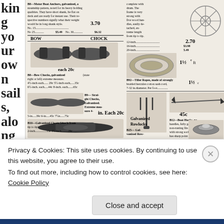king your own sails, along ng
[Figure (illustration): Vintage catalog page showing marine hardware: motor boat anchors, bow chocks, straight chocks, cleats, tiller ropes, boat hooks, galvanized rowlocks, with prices and descriptions]
Privacy & Cookies: This site uses cookies. By continuing to use this website, you agree to their use.
To find out more, including how to control cookies, see here: Cookie Policy
Close and accept